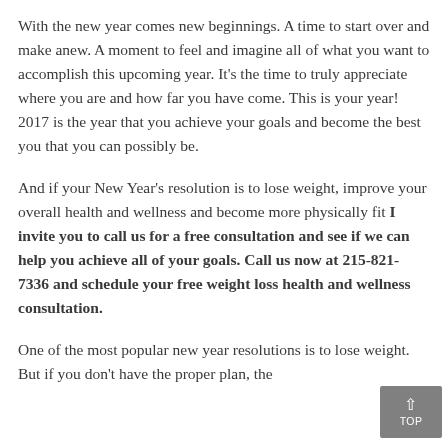With the new year comes new beginnings. A time to start over and make anew. A moment to feel and imagine all of what you want to accomplish this upcoming year. It's the time to truly appreciate where you are and how far you have come. This is your year! 2017 is the year that you achieve your goals and become the best you that you can possibly be.
And if your New Year's resolution is to lose weight, improve your overall health and wellness and become more physically fit I invite you to call us for a free consultation and see if we can help you achieve all of your goals. Call us now at 215-821-7336 and schedule your free weight loss health and wellness consultation.
One of the most popular new year resolutions is to lose weight. But if you don't have the proper plan, the